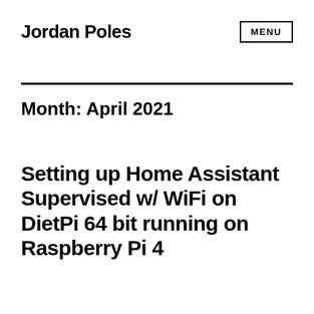Jordan Poles
Month: April 2021
Setting up Home Assistant Supervised w/ WiFi on DietPi 64 bit running on Raspberry Pi 4